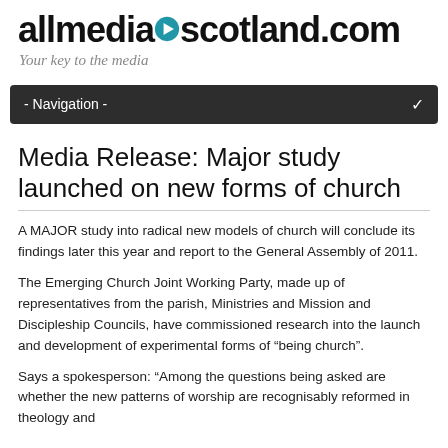allmediascotland.com
Your key to the media
- Navigation -
Media Release: Major study launched on new forms of church
A MAJOR study into radical new models of church will conclude its findings later this year and report to the General Assembly of 2011.
The Emerging Church Joint Working Party, made up of representatives from the parish, Ministries and Mission and Discipleship Councils, have commissioned research into the launch and development of experimental forms of “being church”.
Says a spokesperson: “Among the questions being asked are whether the new patterns of worship are recognisably reformed in theology and